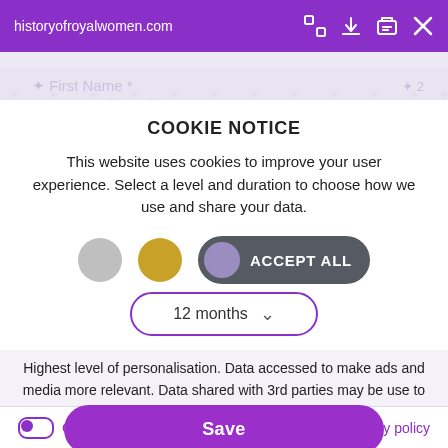historyofroyalwomen.com
COOKIE NOTICE
This website uses cookies to improve your user experience. Select a level and duration to choose how we use and share your data.
[Figure (other): Cookie consent toggle buttons: gray circle, gold circle, and 'ACCEPT ALL' button with purple toggle and dark background]
[Figure (other): Dropdown selector showing '12 months' with chevron, outlined in purple]
Highest level of personalisation. Data accessed to make ads and media more relevant. Data shared with 3rd parties may be use to track you on this site and other sites you visit.
[Figure (other): Purple 'Save' button, rounded pill shape]
Customize   Privacy policy